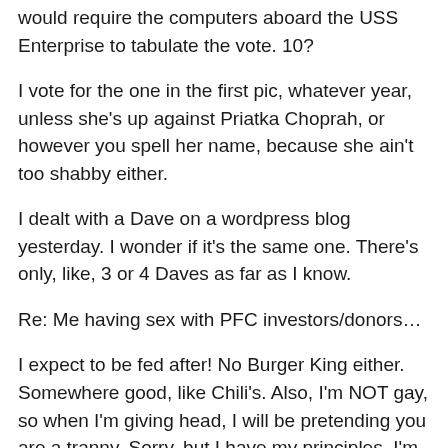would require the computers aboard the USS Enterprise to tabulate the vote. 10?
I vote for the one in the first pic, whatever year, unless she's up against Priatka Choprah, or however you spell her name, because she ain't too shabby either.
I dealt with a Dave on a wordpress blog yesterday. I wonder if it's the same one. There's only, like, 3 or 4 Daves as far as I know.
Re: Me having sex with PFC investors/donors…
I expect to be fed after! No Burger King either. Somewhere good, like Chili's. Also, I'm NOT gay, so when I'm giving head, I will be pretending you are a tranny. Sorry, but I have my principles. I'm